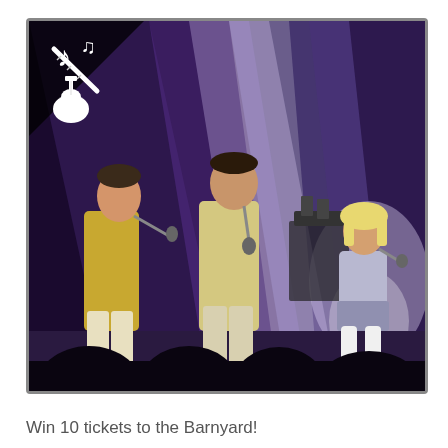[Figure (photo): Concert photo showing three performers on stage in shiny/metallic outfits under purple and white stage lighting. Two male singers on the left and center holding microphones, and a female performer on the right in a short outfit with white boots. Audience silhouettes visible at the bottom. A music icon overlay (musical notes and guitar) appears in the upper left corner of the image frame.]
Win 10 tickets to the Barnyard!